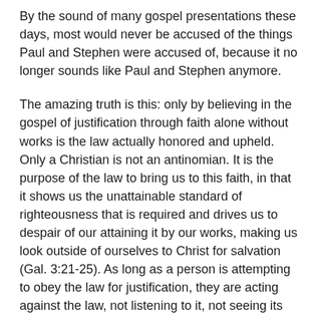By the sound of many gospel presentations these days, most would never be accused of the things Paul and Stephen were accused of, because it no longer sounds like Paul and Stephen anymore.
The amazing truth is this: only by believing in the gospel of justification through faith alone without works is the law actually honored and upheld. Only a Christian is not an antinomian. It is the purpose of the law to bring us to this faith, in that it shows us the unattainable standard of righteousness that is required and drives us to despair of our attaining it by our works, making us look outside of ourselves to Christ for salvation (Gal. 3:21-25). As long as a person is attempting to obey the law for justification, they are acting against the law, not listening to it, not seeing its righteous requirements, lowering the standard, and trusting in themselves. To such people, the law is really not all that glorious. The purpose and honor and righteousness of the law are not established until a person believes in Christ crucified for their salvation. Christ crucified, and justification by faith alone in Him, fulfills the law's purpose and prophecies, does honor to the law's righteous standard, and